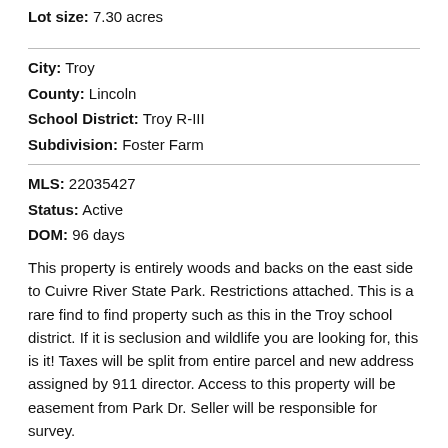Lot size: 7.30 acres
City: Troy
County: Lincoln
School District: Troy R-III
Subdivision: Foster Farm
MLS: 22035427
Status: Active
DOM: 96 days
This property is entirely woods and backs on the east side to Cuivre River State Park. Restrictions attached. This is a rare find to find property such as this in the Troy school district. If it is seclusion and wildlife you are looking for, this is it! Taxes will be split from entire parcel and new address assigned by 911 director. Access to this property will be easement from Park Dr. Seller will be responsible for survey.